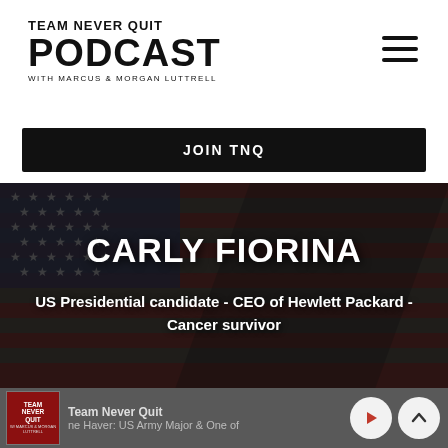TEAM NEVER QUIT PODCAST WITH MARCUS & MORGAN LUTTRELL
JOIN TNQ
[Figure (illustration): Dark American flag background with overlay text for Carly Fiorina podcast episode]
CARLY FIORINA
US Presidential candidate - CEO of Hewlett Packard - Cancer survivor
[Figure (screenshot): Podcast player bar at bottom showing Team Never Quit logo thumbnail, show name, episode text about Jane Haver US Army Major, and playback controls]